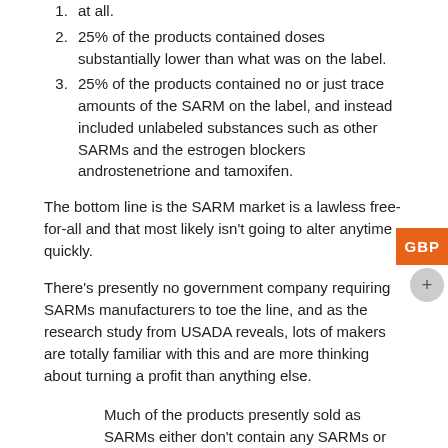at all.
25% of the products contained doses substantially lower than what was on the label.
25% of the products contained no or just trace amounts of the SARM on the label, and instead included unlabeled substances such as other SARMs and the estrogen blockers androstenetrione and tamoxifen.
The bottom line is the SARM market is a lawless free-for-all and that most likely isn't going to alter anytime quickly.
There's presently no government company requiring SARMs manufacturers to toe the line, and as the research study from USADA reveals, lots of makers are totally familiar with this and are more thinking about turning a profit than anything else.
Much of the products presently sold as SARMs either don't contain any SARMs or contain other hidden chemicals and potentially poisonous substances.
The Bottom Line on SARMs